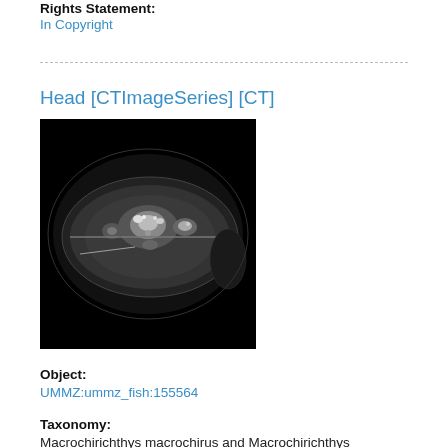Rights Statement:
In Copyright
Head [CTImageSeries] [CT]
[Figure (photo): Grayscale CT scan image of a fish head cross-section showing internal anatomy on a black background. The scan shows a horizontal fish body cross-section with visible bone structures, internal organs, and surrounding anatomy in grayscale tones.]
Object:
UMMZ:ummz_fish:155564
Taxonomy:
Macrochirichthys macrochirus and Macrochirichthys